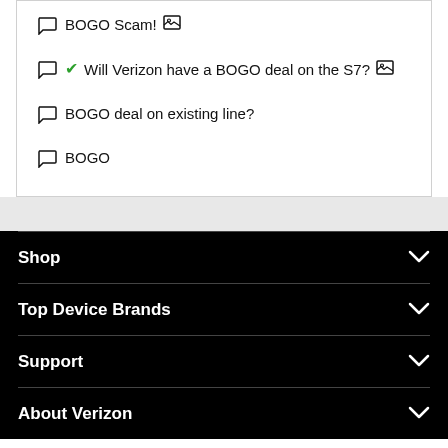BOGO Scam!
Will Verizon have a BOGO deal on the S7?
BOGO deal on existing line?
BOGO
Shop
Top Device Brands
Support
About Verizon